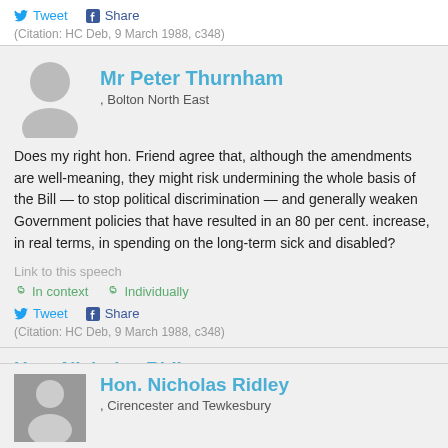Tweet  Share
(Citation: HC Deb, 9 March 1988, c348)
Mr Peter Thurnham , Bolton North East
Does my right hon. Friend agree that, although the amendments are well-meaning, they might risk undermining the whole basis of the Bill — to stop political discrimination — and generally weaken Government policies that have resulted in an 80 per cent. increase, in real terms, in spending on the long-term sick and disabled?
Link to this speech
In context  Individually
Tweet  Share
(Citation: HC Deb, 9 March 1988, c348)
Hon. Nicholas Ridley , Cirencester and Tewkesbury